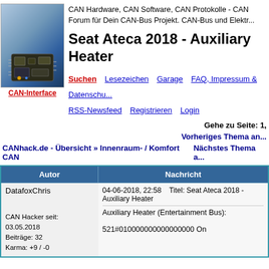[Figure (screenshot): CAN-Interface logo with circuit board image]
CAN Hardware, CAN Software, CAN Protokolle - CAN Forum für Dein CAN-Bus Projekt. CAN-Bus und Elektr...
Seat Ateca 2018 - Auxiliary Heater
Suchen   Lesezeichen   Garage   FAQ, Impressum & Datenschutz
RSS-Newsfeed   Registrieren   Login
Gehe zu Seite: 1,
Vorheriges Thema an...
CANhack.de - Übersicht » Innenraum- / Komfort CAN
Nächstes Thema a...
| Autor | Nachricht |
| --- | --- |
| DatafoxChris

CAN Hacker seit: 03.05.2018
Beiträge: 32
Karma: +9 / -0 | 04-06-2018, 22:58   Titel: Seat Ateca 2018 - Auxiliary Heater

Auxiliary Heater (Entertainment Bus):

521#010000000000000000 On |